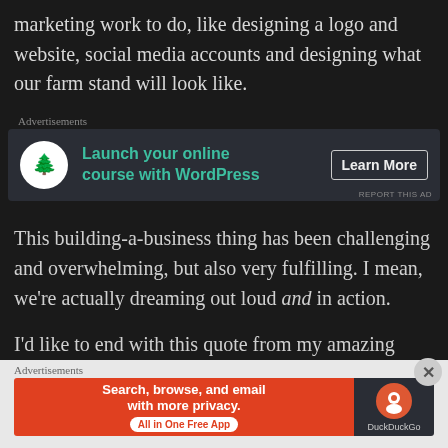marketing work to do, like designing a logo and website, social media accounts and designing what our farm stand will look like.
[Figure (infographic): Advertisement banner for WordPress online course: 'Launch your online course with WordPress' with a Learn More button]
This building-a-business thing has been challenging and overwhelming, but also very fulfilling. I mean, we're actually dreaming out loud and in action.
I'd like to end with this quote from my amazing sister-in-law who is a production BA and owns her own
[Figure (infographic): Advertisement banner for DuckDuckGo: 'Search, browse, and email with more privacy. All in One Free App']